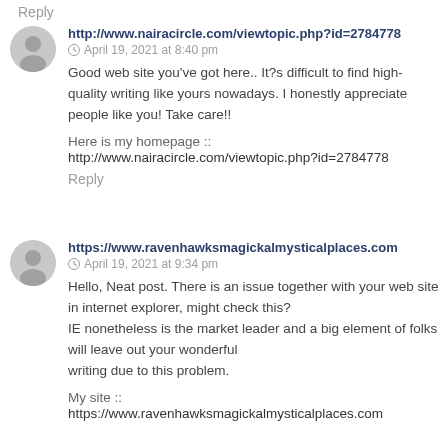Reply
http://www.nairacircle.com/viewtopic.php?id=2784778
April 19, 2021 at 8:40 pm
Good web site you've got here.. It?s difficult to find high-quality writing like yours nowadays. I honestly appreciate people like you! Take care!!
Here is my homepage ::
http://www.nairacircle.com/viewtopic.php?id=2784778
Reply
https://www.ravenhawksmagickalmysticalplaces.com
April 19, 2021 at 9:34 pm
Hello, Neat post. There is an issue together with your web site in internet explorer, might check this? IE nonetheless is the market leader and a big element of folks will leave out your wonderful writing due to this problem.
My site ::
https://www.ravenhawksmagickalmysticalplaces.com